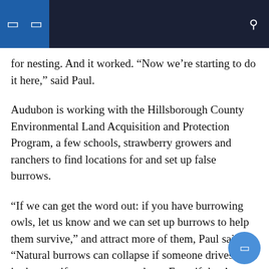for nesting. And it worked. “Now we’re starting to do it here,” said Paul.
Audubon is working with the Hillsborough County Environmental Land Acquisition and Protection Program, a few schools, strawberry growers and ranchers to find locations for and set up false burrows.
“If we can get the word out: if you have burrowing owls, let us know and we can set up burrows to help them survive,” and attract more of them, Paul said. “Natural burrows can collapse if someone drives a car in them or if a cow steps on them. Even if they’re not in the burrow, that’s a problem.
“I’ve been involved with Christmas bird counts for the past 15 years and they count the number of birds in the